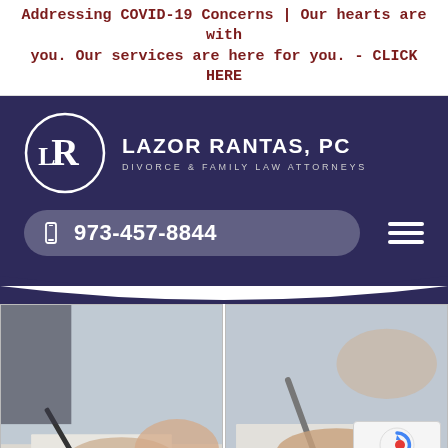Addressing COVID-19 Concerns | Our hearts are with you. Our services are here for you. - CLICK HERE
[Figure (logo): Lazor Rantas, PC law firm logo with circular LR monogram on dark purple background, firm name and tagline 'Divorce & Family Law Attorneys', phone number 973-457-8844 pill button, and hamburger menu icon]
[Figure (photo): Two side-by-side photos showing hands signing legal documents with a pen on paper]
Privacy · Terms